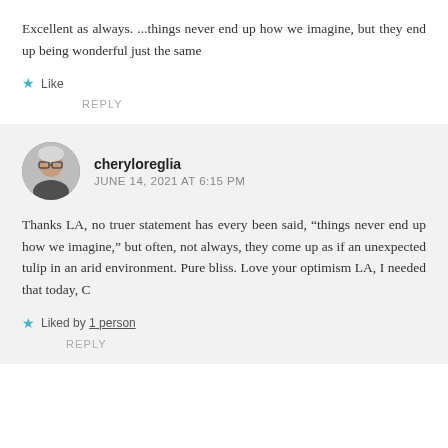Excellent as always. ...things never end up how we imagine, but they end up being wonderful just the same
★ Like
REPLY
cheryloreglia
JUNE 14, 2021 AT 6:15 PM
Thanks LA, no truer statement has every been said, “things never end up how we imagine,” but often, not always, they come up as if an unexpected tulip in an arid environment. Pure bliss. Love your optimism LA, I needed that today, C
★ Liked by 1 person
REPLY